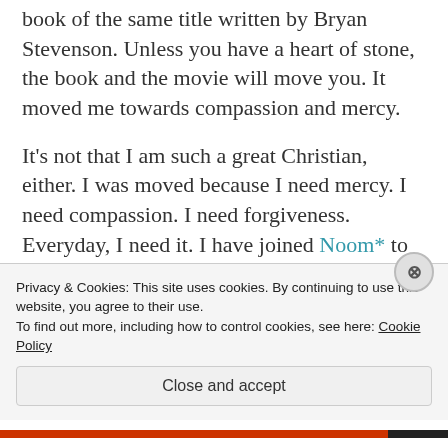book of the same title written by Bryan Stevenson. Unless you have a heart of stone, the book and the movie will move you. It moved me towards compassion and mercy.
It's not that I am such a great Christian, either. I was moved because I need mercy. I need compassion. I need forgiveness. Everyday, I need it. I have joined Noom* to help me with reaching my goals for losing weight. It doesn't require special foods or buying their stuff. I've lost about 10 pounds in the past 2 weeks. But I have so far to
Privacy & Cookies: This site uses cookies. By continuing to use this website, you agree to their use.
To find out more, including how to control cookies, see here: Cookie Policy
Close and accept